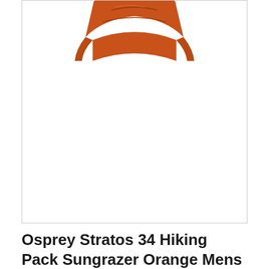[Figure (photo): Partial view of an Osprey Stratos 34 hiking backpack in orange/rust color, showing the top portion of the pack against a white background, inside a bordered image frame.]
Osprey Stratos 34 Hiking Pack Sungrazer Orange Mens One Size Day Hiking Ba...